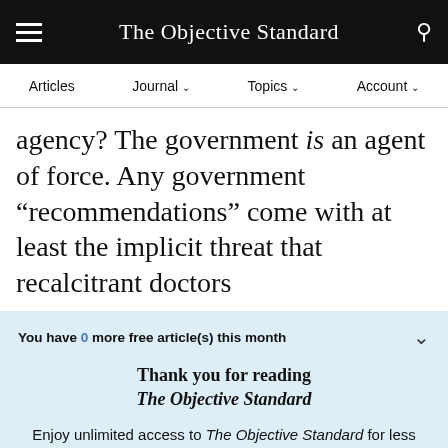The Objective Standard
Articles  Journal  Topics  Account
agency? The government is an agent of force. Any government “recommendations” come with at least the implicit threat that recalcitrant doctors
You have 0 more free article(s) this month
Thank you for reading The Objective Standard
Enjoy unlimited access to The Objective Standard for less than $5 per month
See Options
Already a subscriber? Log in